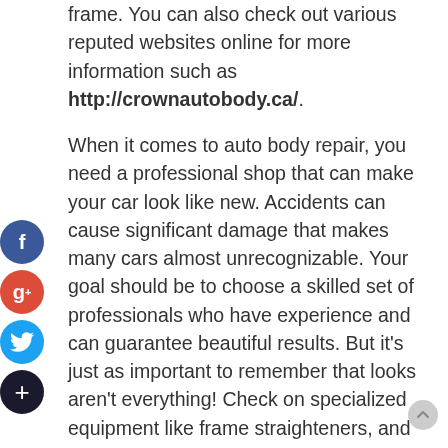frame. You can also check out various reputed websites online for more information such as http://crownautobody.ca/.
When it comes to auto body repair, you need a professional shop that can make your car look like new. Accidents can cause significant damage that makes many cars almost unrecognizable. Your goal should be to choose a skilled set of professionals who have experience and can guarantee beautiful results. But it's just as important to remember that looks aren't everything! Check on specialized equipment like frame straighteners, and make sure that your vehicle's underlying damage can be repaired properly as well. Before you choose an auto body repair shop, do some research and find out which shops have the best reputations. If your friends or family members have had to get work done in the past, find out who they'd recommend (or who they wouldn't!).